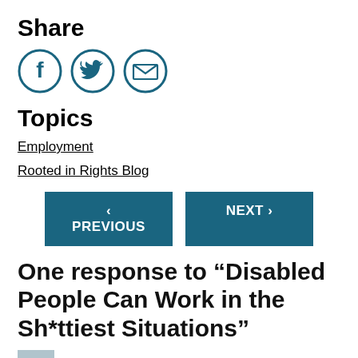Share
[Figure (infographic): Three circular social share icons: Facebook (f), Twitter (bird), and Email (envelope), outlined in teal/dark blue]
Topics
Employment
Rooted in Rights Blog
[Figure (infographic): Two navigation buttons: '< PREVIOUS' and 'NEXT >' with teal/dark blue background and white text]
One response to “Disabled People Can Work in the Sh*ttiest Situations”
Brendan Burger says:
Thursday, October 4, 2018 at 5:19 am